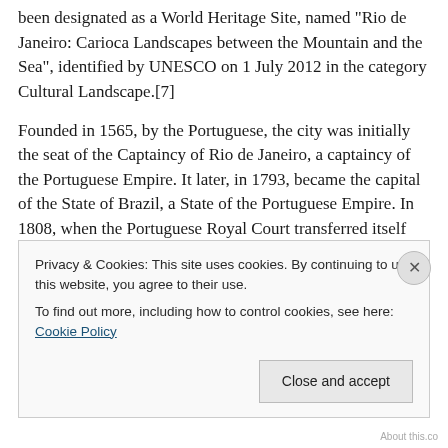been designated as a World Heritage Site, named "Rio de Janeiro: Carioca Landscapes between the Mountain and the Sea", identified by UNESCO on 1 July 2012 in the category Cultural Landscape.[7]
Founded in 1565, by the Portuguese, the city was initially the seat of the Captaincy of Rio de Janeiro, a captaincy of the Portuguese Empire. It later, in 1793, became the capital of the State of Brazil, a State of the Portuguese Empire. In 1808, when the Portuguese Royal Court transferred itself from Portugal to Brazil, Rio de Janeiro became the chosen seat of the court of Queen Maria I of
Privacy & Cookies: This site uses cookies. By continuing to use this website, you agree to their use.
To find out more, including how to control cookies, see here: Cookie Policy